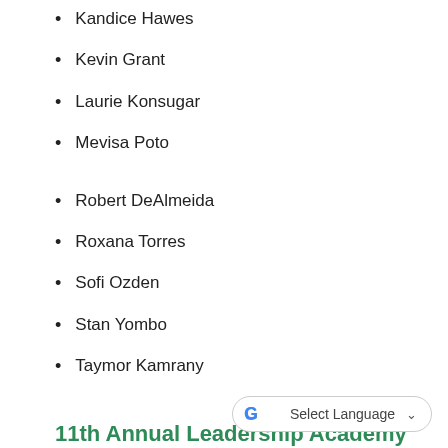Kandice Hawes
Kevin Grant
Laurie Konsugar
Mevisa Poto
Robert DeAlmeida
Roxana Torres
Sofi Ozden
Stan Yombo
Taymor Kamrany
11th Annual Leadership Academy
2014 Graduates
Ashley Melchor
Bud Sherman
Carol Ann Madle